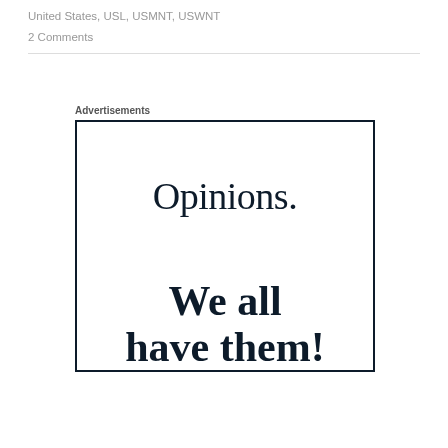United States, USL, USMNT, USWNT
2 Comments
[Figure (other): Advertisement box with dark navy border containing the text 'Opinions.' in serif font and 'We all have them!' in bold serif font on white background]
Advertisements